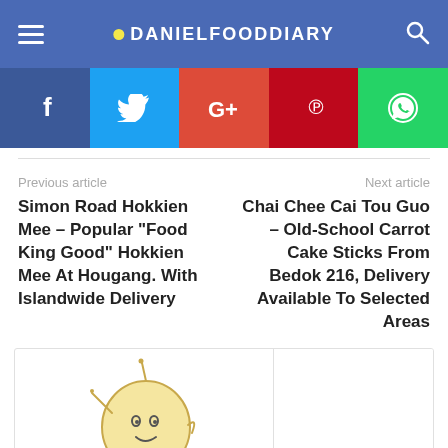DANIELFOODDIARY
[Figure (infographic): Social share buttons: Facebook (blue), Twitter (light blue), Google+ (red-orange), Pinterest (dark red), WhatsApp (green)]
Previous article
Next article
Simon Road Hokkien Mee – Popular “Food King Good” Hokkien Mee At Hougang. With Islandwide Delivery
Chai Chee Cai Tou Guo – Old-School Carrot Cake Sticks From Bedok 216, Delivery Available To Selected Areas
[Figure (illustration): Cartoon illustration of a smiling potato character with stick arms and legs, cream/yellow colored, on white background]